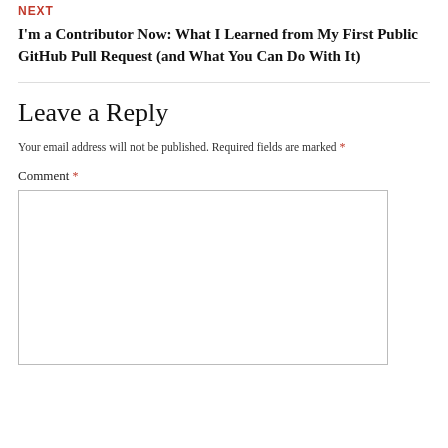NEXT
I'm a Contributor Now: What I Learned from My First Public GitHub Pull Request (and What You Can Do With It)
Leave a Reply
Your email address will not be published. Required fields are marked *
Comment *